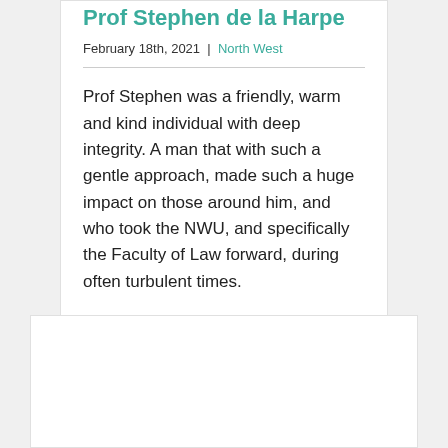Prof Stephen de la Harpe
February 18th, 2021 | North West
Prof Stephen was a friendly, warm and kind individual with deep integrity. A man that with such a gentle approach, made such a huge impact on those around him, and who took the NWU, and specifically the Faculty of Law forward, during often turbulent times.
Read More >